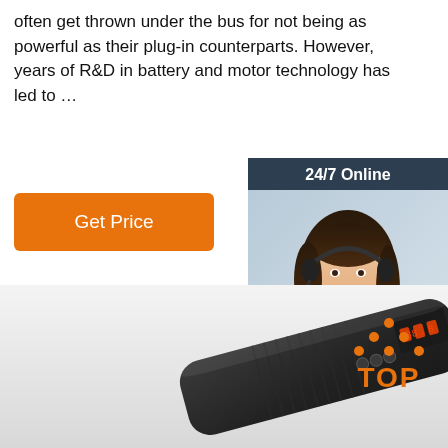often get thrown under the bus for not being as powerful as their plug-in counterparts. However, years of R&D in battery and motor technology has led to …
[Figure (other): Orange 'Get Price' button]
[Figure (other): 24/7 Online live chat widget with woman wearing headset, 'Click here for free chat!' text, and orange QUOTATION button]
[Figure (photo): Black portable cordless air compressor/inflator device with digital display]
[Figure (logo): Orange TOP logo with dot-triangle above the word TOP]